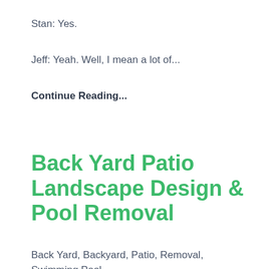Stan: Yes.
Jeff: Yeah. Well, I mean a lot of...
Continue Reading...
Back Yard Patio Landscape Design & Pool Removal
Back Yard, Backyard, Patio, Removal, Swimming Pool
Continue Reading...